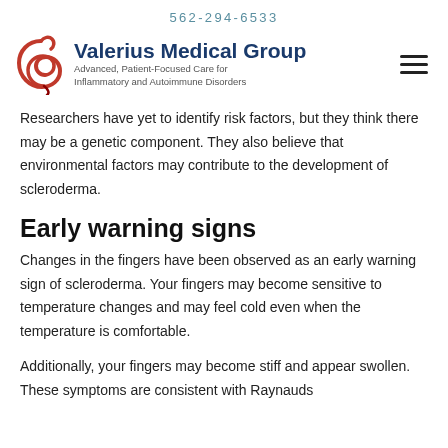562-294-6533
[Figure (logo): Valerius Medical Group logo with red stylized figure and blue text. Subtitle: Advanced, Patient-Focused Care for Inflammatory and Autoimmune Disorders]
Researchers have yet to identify risk factors, but they think there may be a genetic component. They also believe that environmental factors may contribute to the development of scleroderma.
Early warning signs
Changes in the fingers have been observed as an early warning sign of scleroderma. Your fingers may become sensitive to temperature changes and may feel cold even when the temperature is comfortable.
Additionally, your fingers may become stiff and appear swollen. These symptoms are consistent with Raynauds